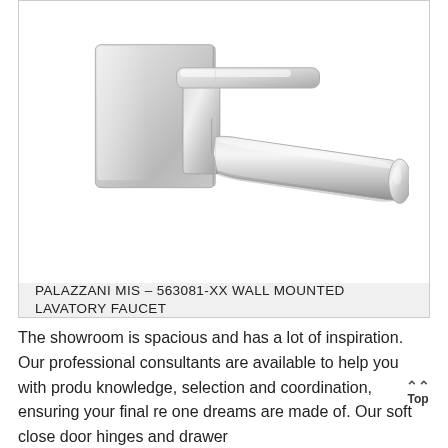[Figure (photo): Chrome wall-mounted lavatory faucet by Palazzani MIS, model 563081-XX. The faucet is shown at an angle, attached to a square chrome wall plate, with a long flat spout extending to the right and a lever handle on top.]
PALAZZANI MIS – 563081-XX WALL MOUNTED LAVATORY FAUCET
The showroom is spacious and has a lot of inspiration. Our professional consultants are available to help you with product knowledge, selection and coordination, ensuring your final result and one dreams are made of. Our soft close door hinges and drawer